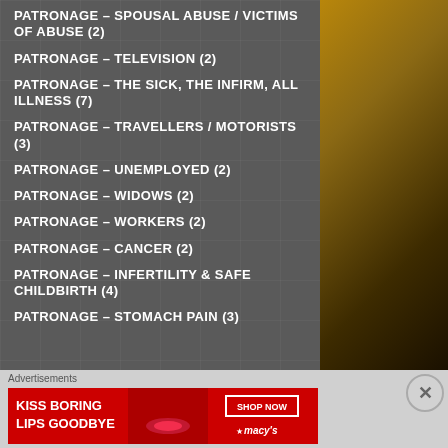PATRONAGE – SPOUSAL ABUSE / VICTIMS OF ABUSE (2)
PATRONAGE – TELEVISION (2)
PATRONAGE – THE SICK, THE INFIRM, ALL ILLNESS (7)
PATRONAGE – TRAVELLERS / MOTORISTS (3)
PATRONAGE – UNEMPLOYED (2)
PATRONAGE – WIDOWS (2)
PATRONAGE – WORKERS (2)
PATRONAGE – CANCER (2)
PATRONAGE – INFERTILITY & SAFE CHILDBIRTH (4)
PATRONAGE – STOMACH PAIN (3)
Advertisements
[Figure (photo): Macy's advertisement: woman with red lips, text KISS BORING LIPS GOODBYE, SHOP NOW button and Macy's star logo]